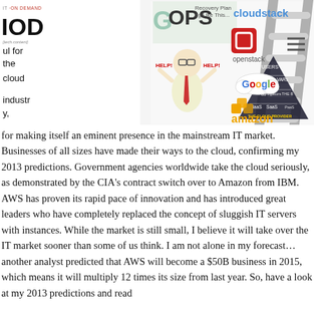[Figure (illustration): Collage of cloud computing industry logos and graphics: IOD (IT on Demand) logo top left, OPS cartoon with Dilbert-style character, a ladder graphic in center, cloud computing pyramid diagram (Users, MSPs, VARs, Aggregators, IaaS, SaaS - The Cloud Provider), and logos for CloudStack, OpenStack, Google cloud, Amazon Web Services on the right side.]
for making itself an eminent presence in the mainstream IT market. Businesses of all sizes have made their ways to the cloud, confirming my 2013 predictions. Government agencies worldwide take the cloud seriously, as demonstrated by the CIA's contract switch over to Amazon from IBM. AWS has proven its rapid pace of innovation and has introduced great leaders who have completely replaced the concept of sluggish IT servers with instances. While the market is still small, I believe it will take over the IT market sooner than some of us think. I am not alone in my forecast… another analyst predicted that AWS will become a $50B business in 2015, which means it will multiply 12 times its size from last year. So, have a look at my 2013 predictions and read